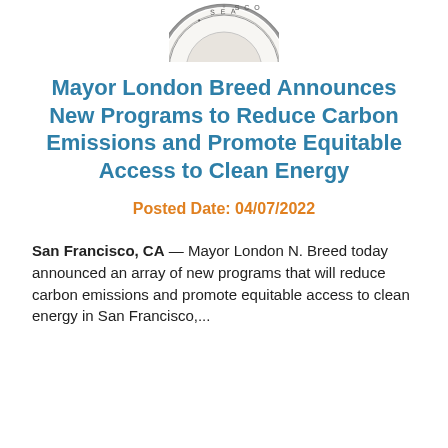[Figure (logo): San Francisco city seal, partially cropped at top of page]
Mayor London Breed Announces New Programs to Reduce Carbon Emissions and Promote Equitable Access to Clean Energy
Posted Date: 04/07/2022
San Francisco, CA — Mayor London N. Breed today announced an array of new programs that will reduce carbon emissions and promote equitable access to clean energy in San Francisco,...